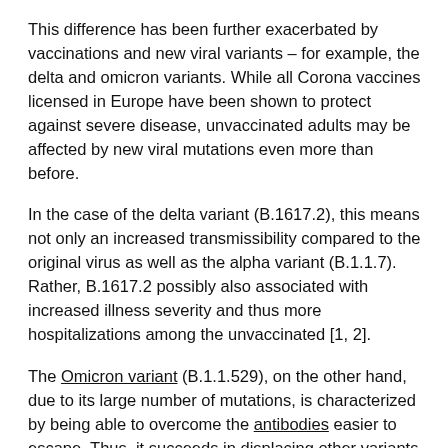This difference has been further exacerbated by vaccinations and new viral variants – for example, the delta and omicron variants. While all Corona vaccines licensed in Europe have been shown to protect against severe disease, unvaccinated adults may be affected by new viral mutations even more than before.
In the case of the delta variant (B.1617.2), this means not only an increased transmissibility compared to the original virus as well as the alpha variant (B.1.1.7). Rather, B.1617.2 possibly also associated with increased illness severity and thus more hospitalizations among the unvaccinated [1, 2].
The Omicron variant (B.1.1.529), on the other hand, due to its large number of mutations, is characterized by being able to overcome the antibodies easier to escape. Thus, it succeeds in displacing other variants. Data on disease severity are only preliminary, but suggest milder courses in some cases.
The "scissors" of possible courses thus diverge even further